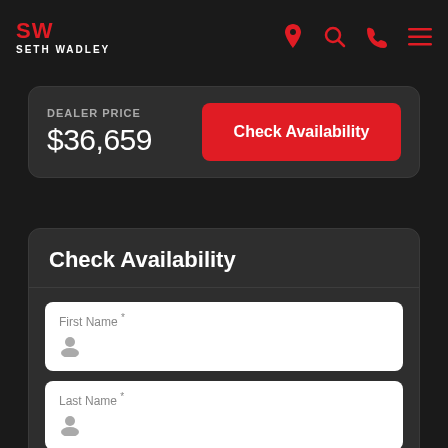[Figure (logo): Seth Wadley automotive dealership logo with red SW monogram and white SETH WADLEY text, navigation icons for location, search, phone, and menu]
DEALER PRICE
$36,659
Check Availability
Check Availability
First Name *
Last Name *